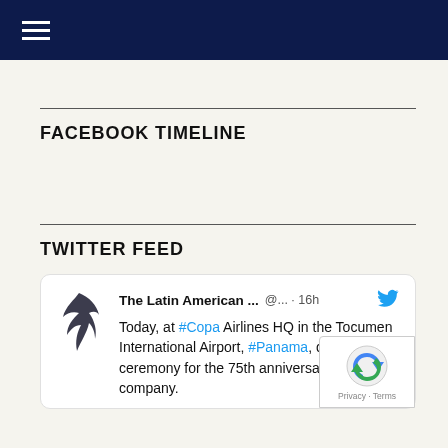Navigation bar with hamburger menu
FACEBOOK TIMELINE
TWITTER FEED
The Latin American ... @... · 16h
Today, at #Copa Airlines HQ in the Tocumen International Airport, #Panama, during the ceremony for the 75th anniversary of the company.